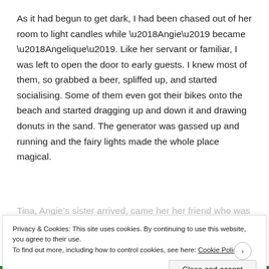As it had begun to get dark, I had been chased out of her room to light candles while ‘Angie’ became ‘Angelique’. Like her servant or familiar, I was left to open the door to early guests. I knew most of them, so grabbed a beer, spliffed up, and started socialising. Some of them even got their bikes onto the beach and started dragging up and down it and drawing donuts in the sand. The generator was gassed up and running and the fairy lights made the whole place magical.
Tina, Angie’s sister arrived, came her her friend who was
Privacy & Cookies: This site uses cookies. By continuing to use this website, you agree to their use.
To find out more, including how to control cookies, see here: Cookie Policy
Close and accept